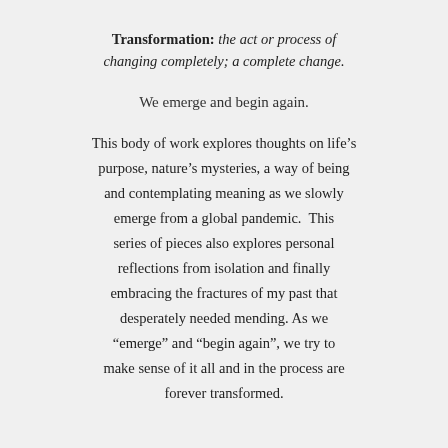Transformation: the act or process of changing completely; a complete change.
We emerge and begin again.
This body of work explores thoughts on life’s purpose, nature’s mysteries, a way of being and contemplating meaning as we slowly emerge from a global pandemic.  This series of pieces also explores personal reflections from isolation and finally embracing the fractures of my past that desperately needed mending. As we “emerge” and “begin again”, we try to make sense of it all and in the process are forever transformed.